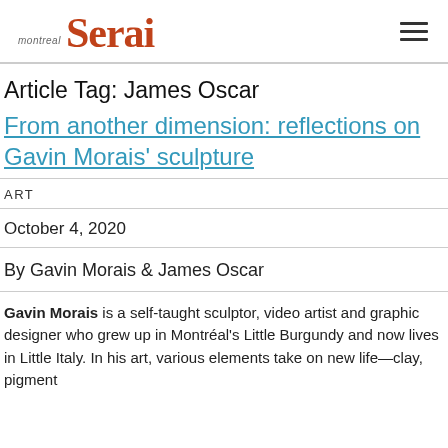montreal serai [logo with hamburger menu]
Article Tag: James Oscar
From another dimension: reflections on Gavin Morais' sculpture
ART
October 4, 2020
By Gavin Morais & James Oscar
Gavin Morais is a self-taught sculptor, video artist and graphic designer who grew up in Montréal's Little Burgundy and now lives in Little Italy. In his art, various elements take on new life—clay, pigment